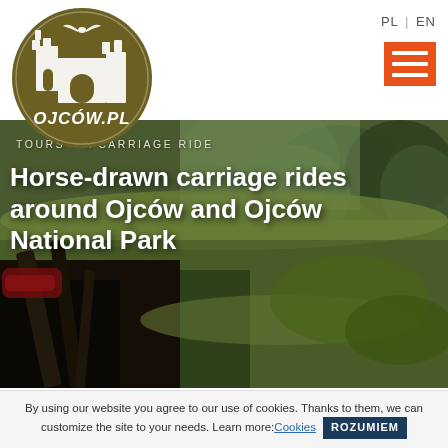[Figure (logo): Ojców.pl circular logo with olive/dark gold color, castle and bat silhouette]
PL | EN
[Figure (other): Orange hamburger menu button with three white horizontal lines]
TOURS > A CARRIAGE RIDE
[Figure (photo): Outdoor photo taken from a horse-drawn carriage, showing leather harness straps in foreground, green grassy riverbank path, and trees in background]
Horse-drawn carriage rides around Ojców and Ojców National Park
By using our website you agree to our use of cookies. Thanks to them, we can customize the site to your needs. Learn more: Cookies  ROZUMIEM